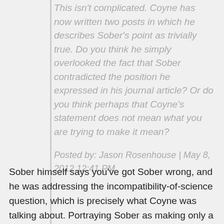This isn't complicated. Coyne has now written two posts in which he describes Sober's point as trivially true. Do you think he simply overlooked the fact that Sober contradicted the position he expressed in his journal article? Or do you think perhaps that Coyne's statement does not mean what you are trying to make it mean?
Posted by: Jason Rosenhouse | May 8, 2012 12:41 PM
Sober himself says you've got Sober wrong, and he was addressing the incompatibility-of-science question, which is precisely what Coyne was talking about. Portraying Sober as making only a trivial logical point which everyone already agrees with is a dodge of the real issue, which is whether or not evolutionary biology, when